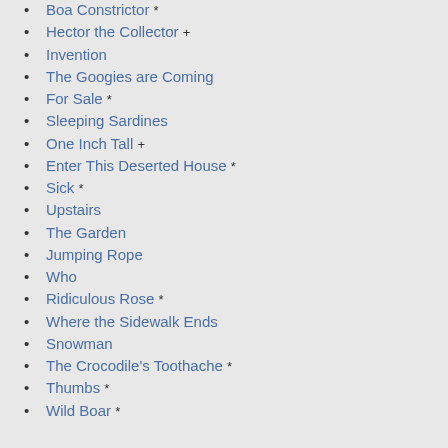Boa Constrictor *
Hector the Collector +
Invention
The Googies are Coming
For Sale *
Sleeping Sardines
One Inch Tall +
Enter This Deserted House *
Sick *
Upstairs
The Garden
Jumping Rope
Who
Ridiculous Rose *
Where the Sidewalk Ends
Snowman
The Crocodile's Toothache *
Thumbs *
Wild Boar *